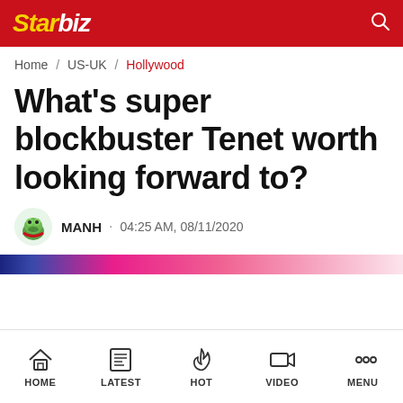Starbiz
Home / US-UK / Hollywood
What's super blockbuster Tenet worth looking forward to?
MANH · 04:25 AM, 08/11/2020
[Figure (photo): Colorful image strip preview at bottom of article header]
HOME  LATEST  HOT  VIDEO  MENU